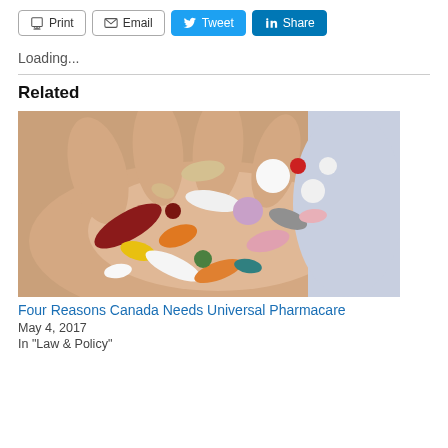Print  Email  Tweet  Share
Loading...
Related
[Figure (photo): A hand holding a large assortment of colorful pills and capsules of various shapes and sizes against a light background.]
Four Reasons Canada Needs Universal Pharmacare
May 4, 2017
In "Law & Policy"